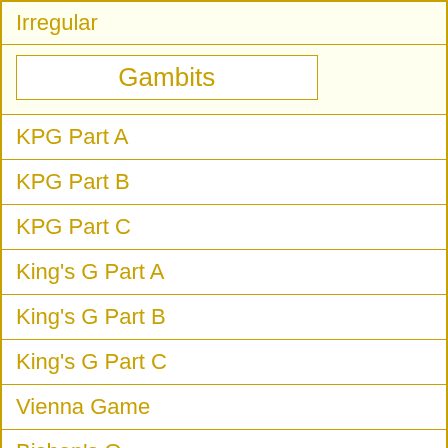Irregular
Gambits
KPG Part A
KPG Part B
KPG Part C
King's G Part A
King's G Part B
King's G Part C
Vienna Game
Bishop's O